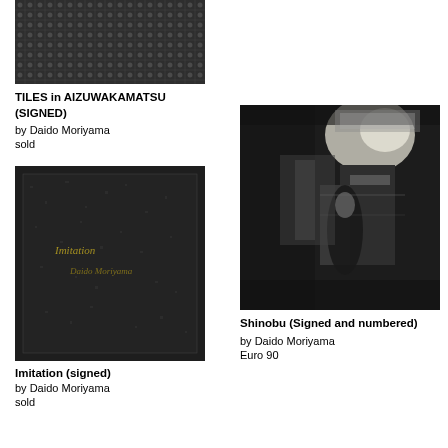[Figure (photo): Black and white photo of tiles texture - top of page, cropped]
TILES in AIZUWAKAMATSU (SIGNED)
by Daido Moriyama
sold
[Figure (photo): Black and white photo of book cover - Imitation, dark grainy texture with cursive text]
Imitation (signed)
by Daido Moriyama
sold
[Figure (photo): Black and white photo showing a person in traditional clothing near machinery or equipment - Shinobu]
Shinobu (Signed and numbered)
by Daido Moriyama
Euro 90